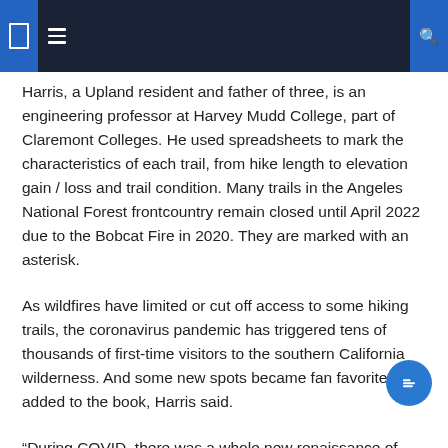Navigation header bar
Harris, a Upland resident and father of three, is an engineering professor at Harvey Mudd College, part of Claremont Colleges. He used spreadsheets to mark the characteristics of each trail, from hike length to elevation gain / loss and trail condition. Many trails in the Angeles National Forest frontcountry remain closed until April 2022 due to the Bobcat Fire in 2020. They are marked with an asterisk.
As wildfires have limited or cut off access to some hiking trails, the coronavirus pandemic has triggered tens of thousands of first-time visitors to the southern California wilderness. And some new spots became fan favorites he added to the book, Harris said.
â€œDuring COVID, there was a whole new renaissance of